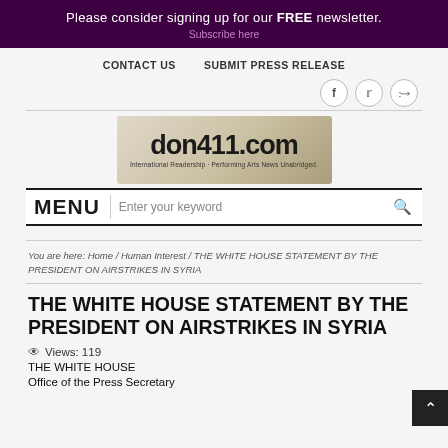Please consider signing up for our FREE newsletter.
CONTACT US   SUBMIT PRESS RELEASE
[Figure (logo): don411.com logo with tagline: International Readership - Performing Arts News Unabridged.]
MENU  Enter your keyword
You are here: Home / Human Interest / THE WHITE HOUSE STATEMENT BY THE PRESIDENT ON AIRSTRIKES IN SYRIA
THE WHITE HOUSE STATEMENT BY THE PRESIDENT ON AIRSTRIKES IN SYRIA
Views: 119
THE WHITE HOUSE
Office of the Press Secretary